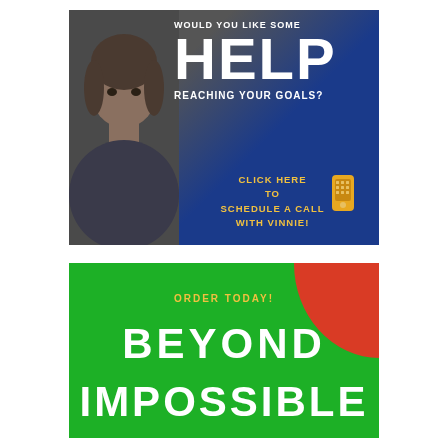[Figure (illustration): Promotional banner with a man's photo on left, blue gradient background on right, text: 'WOULD YOU LIKE SOME HELP REACHING YOUR GOALS? CLICK HERE TO SCHEDULE A CALL WITH VINNIE!' with a phone icon.]
[Figure (illustration): Book promotion banner with green background, red arc top-right corner, yellow text 'ORDER TODAY!' and white bold text 'BEYOND IMPOSSIBLE']